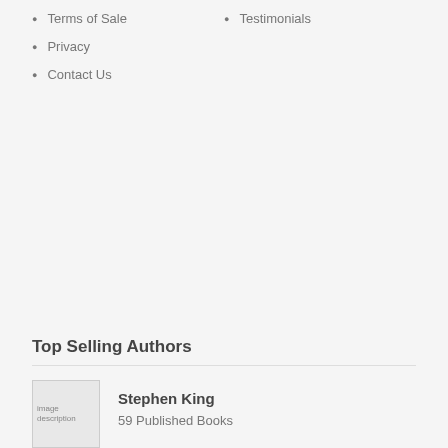Terms of Use
FAQ
Terms of Sale
Testimonials
Privacy
Contact Us
Top Selling Authors
[Figure (photo): image description - author photo placeholder]
Stephen King
59 Published Books